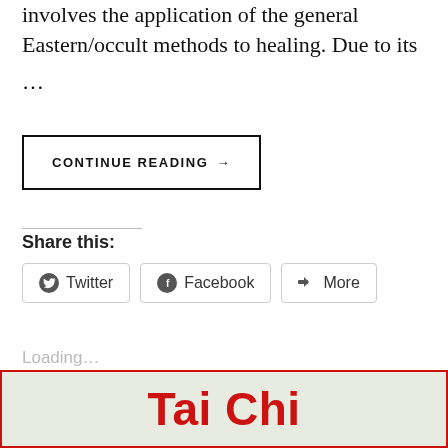involves the application of the general Eastern/occult methods to healing. Due to its
...
CONTINUE READING →
Share this:
Twitter  Facebook  More
Loading...
[Figure (other): Banner with 'Tai Chi' text in bold red on a pale green background with red border]